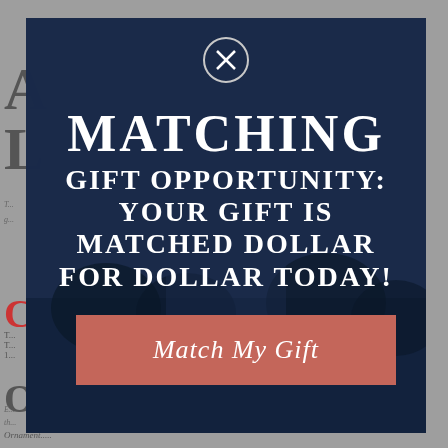[Figure (screenshot): A modal popup overlay on a webpage showing a matching gift fundraising message. The modal has a dark navy blue semi-transparent background with a white X close button at top center. Large white serif bold uppercase text reads 'MATCHING GIFT OPPORTUNITY: YOUR GIFT IS MATCHED DOLLAR FOR DOLLAR TODAY!' Below is a salmon/rose-colored button with italic white text 'Match My Gift'. Behind the modal, partial webpage content is visible on a gray background.]